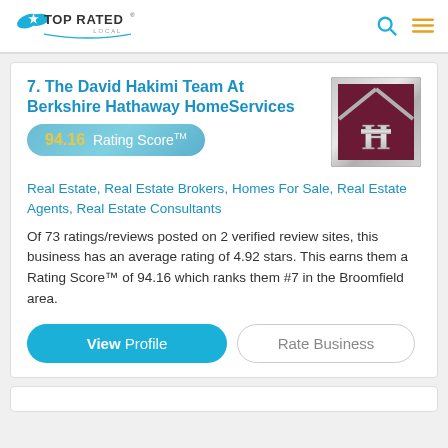Top Rated Local
7. The David Hakimi Team At Berkshire Hathaway HomeServices
94.16 Rating Score™
[Figure (logo): Berkshire Hathaway HomeServices logo - dark red square with silver H and roof shape]
Real Estate, Real Estate Brokers, Homes For Sale, Real Estate Agents, Real Estate Consultants
Of 73 ratings/reviews posted on 2 verified review sites, this business has an average rating of 4.92 stars. This earns them a Rating Score™ of 94.16 which ranks them #7 in the Broomfield area.
View Profile | Rate Business